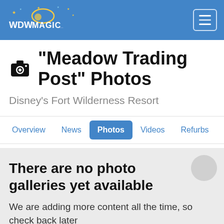WDWMagic.com
"Meadow Trading Post" Photos
Disney's Fort Wilderness Resort
Overview
News
Photos
Videos
Refurbs
Re...
There are no photo galleries yet available
We are adding more content all the time, so check back later